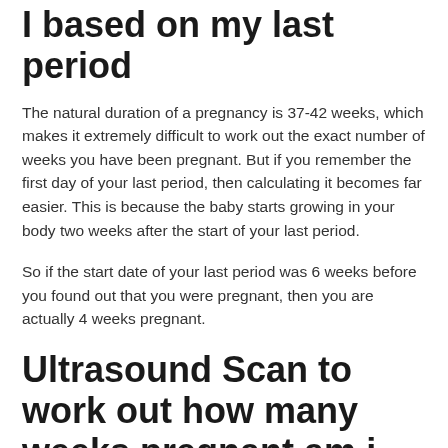I based on my last period
The natural duration of a pregnancy is 37-42 weeks, which makes it extremely difficult to work out the exact number of weeks you have been pregnant. But if you remember the first day of your last period, then calculating it becomes far easier. This is because the baby starts growing in your body two weeks after the start of your last period.
So if the start date of your last period was 6 weeks before you found out that you were pregnant, then you are actually 4 weeks pregnant.
Ultrasound Scan to work out how many weeks pregnant am i
If you don't remember the starting date of your last menstrual cycle or conception date, then ultrasound scans can help you determine the age of your pregnancy.